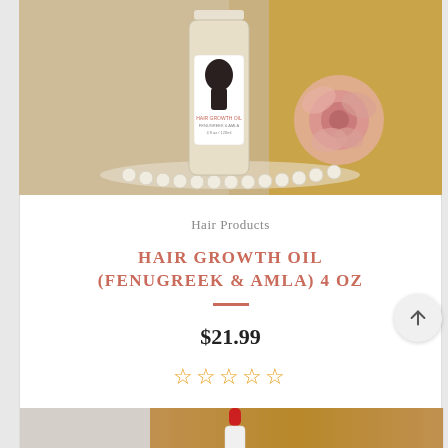[Figure (photo): Product photo of a hair growth oil bottle with a label showing a silhouette, surrounded by pearls and a pink rose, on a golden background]
Hair Products
HAIR GROWTH OIL (FENUGREEK & AMLA) 4 OZ
$21.99
[Figure (other): Five empty gold star rating icons indicating 0 out of 5 stars]
[Figure (photo): Bottom portion of another product photo showing a dropper bottle against a golden fabric background]